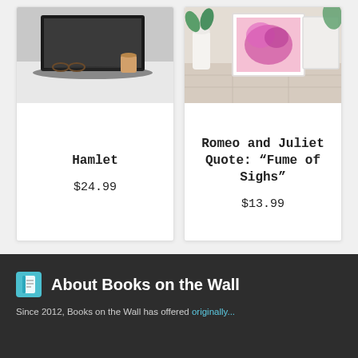[Figure (photo): Photo of a desk workspace with laptop, coffee cup and sunglasses on a white surface]
Hamlet
$24.99
[Figure (photo): Photo of a framed pink/purple floral wall art print displayed on a light wood surface with a plant]
Romeo and Juliet Quote: “Fume of Sighs”
$13.99
About Books on the Wall
Since 2012, Books on the Wall has offered originally...